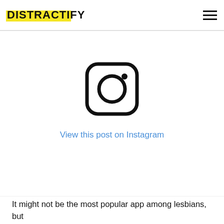DISTRACTIFY
[Figure (screenshot): Instagram embed placeholder showing the Instagram camera icon and a link reading 'View this post on Instagram']
It might not be the most popular app among lesbians, but